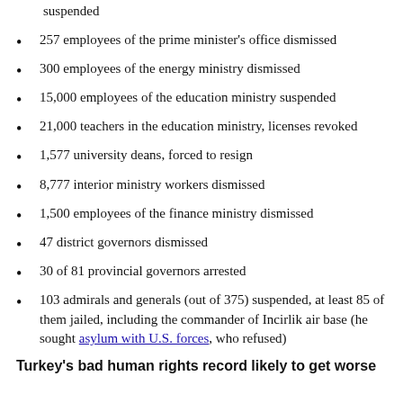suspended
257 employees of the prime minister's office dismissed
300 employees of the energy ministry dismissed
15,000 employees of the education ministry suspended
21,000 teachers in the education ministry, licenses revoked
1,577 university deans, forced to resign
8,777 interior ministry workers dismissed
1,500 employees of the finance ministry dismissed
47 district governors dismissed
30 of 81 provincial governors arrested
103 admirals and generals (out of 375) suspended, at least 85 of them jailed, including the commander of Incirlik air base (he sought asylum with U.S. forces, who refused)
Turkey's bad human rights record likely to get worse